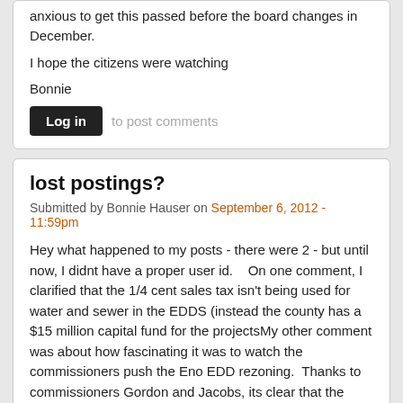anxious to get this passed before the board changes in December.
I hope the citizens were watching
Bonnie
Log in to post comments
lost postings?
Submitted by Bonnie Hauser on September 6, 2012 - 11:59pm
Hey what happened to my posts - there were 2 - but until now, I didnt have a proper user id.   On one comment, I clarified that the 1/4 cent sales tax isn't being used for water and sewer in the EDDS (instead the county has a $15 million capital fund for the projectsMy other comment was about how fascinating it was to watch the commissioners push the Eno EDD rezoning.  Thanks to commissioners Gordon and Jacobs, its clear that the board voted 5-2 to change the underlying land use (to commercial) without changing the zoning *residential) for a 95